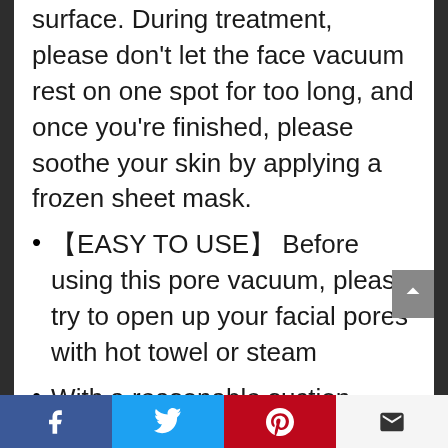surface. During treatment, please don't let the face vacuum rest on one spot for too long, and once you're finished, please soothe your skin by applying a frozen sheet mask.
【EASY TO USE】 Before using this pore vacuum, please try to open up your facial pores with hot towel or steam
With a reasonable suction level, do not suck in a fixed place more than 3 seconds, you have to move the suction head from the top to down
Facebook | Twitter | Pinterest | Email